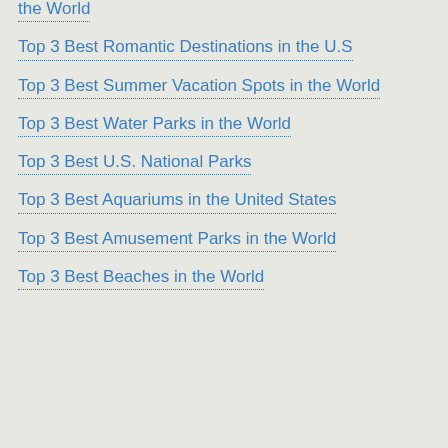the World
Top 3 Best Romantic Destinations in the U.S
Top 3 Best Summer Vacation Spots in the World
Top 3 Best Water Parks in the World
Top 3 Best U.S. National Parks
Top 3 Best Aquariums in the United States
Top 3 Best Amusement Parks in the World
Top 3 Best Beaches in the World